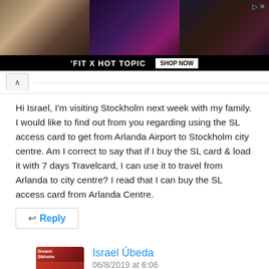[Figure (screenshot): Advertisement banner for 'FIT X HOT TOPIC' showing three fashion photos with a 'SHOP NOW' button on a black bar at the bottom. Ad close button in top right corner.]
Hi Israel, I'm visiting Stockholm next week with my family. I would like to find out from you regarding using the SL access card to get from Arlanda Airport to Stockholm city centre. Am I correct to say that if I buy the SL card & load it with 7 days Travelcard, I can use it to travel from Arlanda to city centre? I read that I can buy the SL access card from Arlanda Centre.
Reply
Israel Úbeda
06/8/2019 at 6:06
Hi Mona
Yes you can travel with the SL-access loaded with any